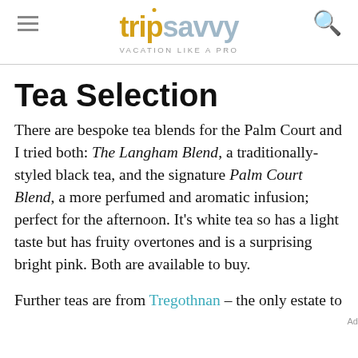trip savvy — VACATION LIKE A PRO
Tea Selection
There are bespoke tea blends for the Palm Court and I tried both: The Langham Blend, a traditionally-styled black tea, and the signature Palm Court Blend, a more perfumed and aromatic infusion; perfect for the afternoon. It's white tea so has a light taste but has fruity overtones and is a surprising bright pink. Both are available to buy.
Further teas are from Tregothnan – the only estate to